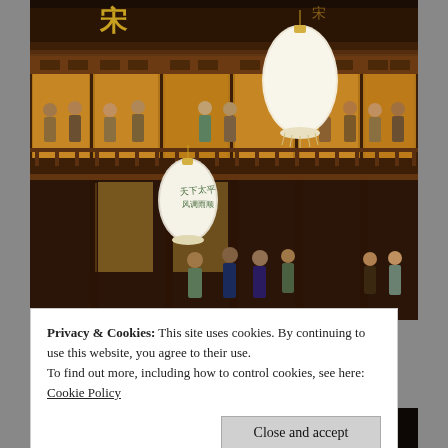[Figure (photo): A traditional Chinese multi-story building at night with lanterns hanging. Many people in period costumes are visible on the upper balcony. The building has ornate wooden architecture with brown and gold tones.]
Privacy & Cookies: This site uses cookies. By continuing to use this website, you agree to their use.
To find out more, including how to control cookies, see here: Cookie Policy
Close and accept
[Figure (photo): Bottom portion of another image showing dark background with partial golden Chinese characters visible.]